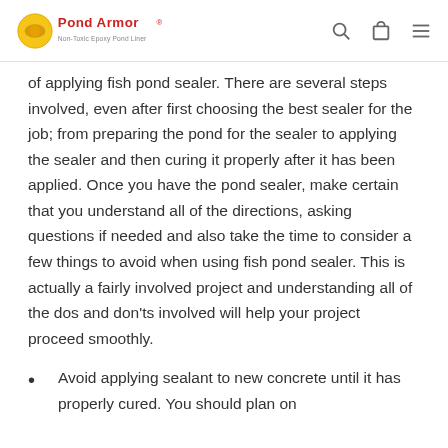Pond Armor [logo]
of applying fish pond sealer. There are several steps involved, even after first choosing the best sealer for the job; from preparing the pond for the sealer to applying the sealer and then curing it properly after it has been applied. Once you have the pond sealer, make certain that you understand all of the directions, asking questions if needed and also take the time to consider a few things to avoid when using fish pond sealer. This is actually a fairly involved project and understanding all of the dos and don'ts involved will help your project proceed smoothly.
Avoid applying sealant to new concrete until it has properly cured. You should plan on